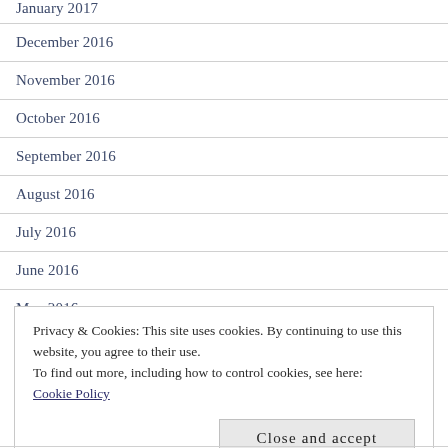January 2017
December 2016
November 2016
October 2016
September 2016
August 2016
July 2016
June 2016
May 2016
Privacy & Cookies: This site uses cookies. By continuing to use this website, you agree to their use.
To find out more, including how to control cookies, see here:
Cookie Policy
Close and accept